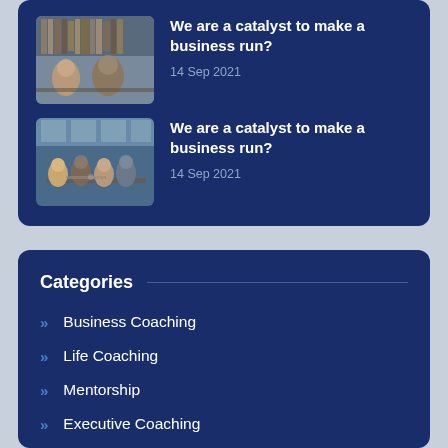[Figure (photo): Two men working together at a desk with camera equipment, library shelves in background]
We are a catalyst to make a business run?
14 Sep 2021
[Figure (photo): Group of people sitting around a table in a modern office/meeting space]
We are a catalyst to make a business run?
14 Sep 2021
Categories
Business Coaching
Life Coaching
Mentorship
Executive Coaching